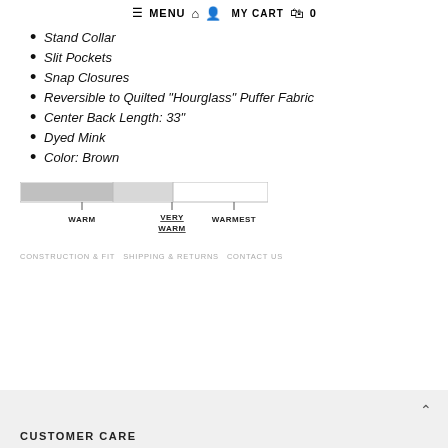≡ MENU  🏠  👤  MY CART  🛍  0
Stand Collar
Slit Pockets
Snap Closures
Reversible to Quilted "Hourglass" Puffer Fabric
Center Back Length: 33"
Dyed Mink
Color: Brown
[Figure (infographic): Warmth rating bar showing three levels: WARM, VERY WARM (underlined, currently selected/highlighted), and WARMEST. The bar is partially filled indicating VERY WARM rating.]
CONSTRUCTION & FIT  SHIPPING & RETURNS  CONTACT US
CUSTOMER CARE